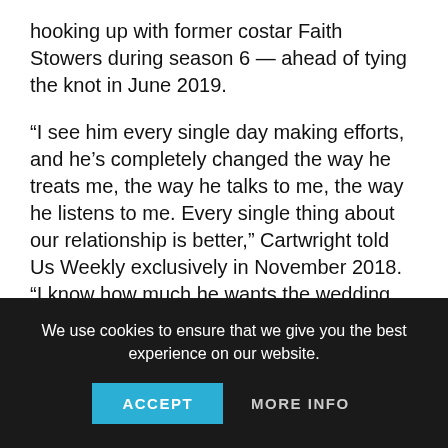hooking up with former costar Faith Stowers during season 6 — ahead of tying the knot in June 2019.
“I see him every single day making efforts, and he’s completely changed the way he treats me, the way he talks to me, the way he listens to me. Every single thing about our relationship is better,” Cartwright told Us Weekly exclusively in November 2018. “I know how much he wants the wedding and how much he wants to marry me, how much effort he’s putting into the wedding, just as much as me. I don’t know; whenever you know somebody as well as I know Jax, you can tell.”
We use cookies to ensure that we give you the best experience on our website.